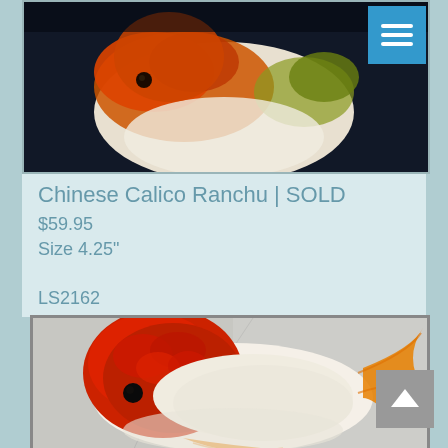[Figure (photo): Partially cropped top-down photo of a Chinese Calico Ranchu goldfish with orange, white and yellow coloring against dark background]
Chinese Calico Ranchu | SOLD
$59.95
Size 4.25"
LS2162
[Figure (photo): Close-up photo of a red and white Ranchu goldfish with orange fins, viewed from a slightly elevated angle against a light background]